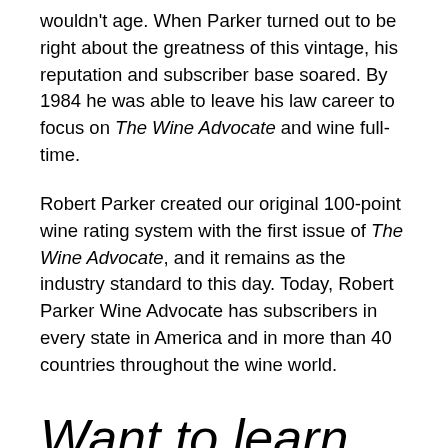wouldn't age. When Parker turned out to be right about the greatness of this vintage, his reputation and subscriber base soared. By 1984 he was able to leave his law career to focus on The Wine Advocate and wine full-time.
Robert Parker created our original 100-point wine rating system with the first issue of The Wine Advocate, and it remains as the industry standard to this day. Today, Robert Parker Wine Advocate has subscribers in every state in America and in more than 40 countries throughout the wine world.
Want to learn more about wine? Follow Robert Parker Wine Advocate on Facebook, Instagram an...